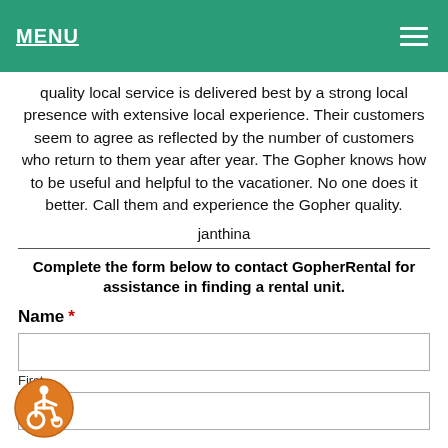MENU
quality local service is delivered best by a strong local presence with extensive local experience. Their customers seem to agree as reflected by the number of customers who return to them year after year. The Gopher knows how to be useful and helpful to the vacationer. No one does it better. Call them and experience the Gopher quality.
janthina
Complete the form below to contact GopherRental for assistance in finding a rental unit.
Name *
[Figure (other): Accessibility icon - orange circle with wheelchair user symbol]